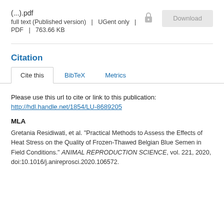(...).pdf
full text (Published version)  |  UGent only  |
PDF  |  763.66 KB
Citation
Cite this	BibTeX	Metrics
Please use this url to cite or link to this publication:
http://hdl.handle.net/1854/LU-8689205
MLA
Gretania Residiwati, et al. "Practical Methods to Assess the Effects of Heat Stress on the Quality of Frozen-Thawed Belgian Blue Semen in Field Conditions." ANIMAL REPRODUCTION SCIENCE, vol. 221, 2020, doi:10.1016/j.anireprosci.2020.106572.